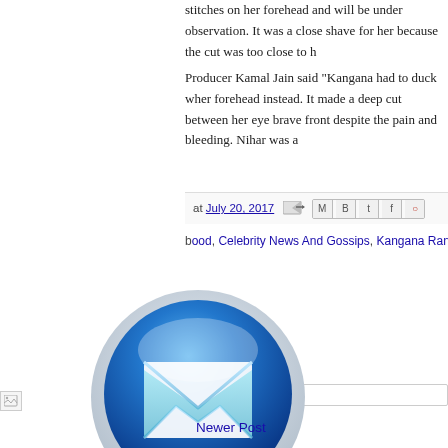stitches on her forehead and will be under observation. It was a close shave for her because the cut was too close to h
Producer Kamal Jain said "Kangana had to duck wher forehead instead. It made a deep cut between her eye brave front despite the pain and bleeding. Nihar was a
at July 20, 2017
Celebrity News And Gossips, Kangana Rana
ent
ter Comment
[Figure (illustration): Blue glossy email/mail icon button - a shiny blue circular button with a white envelope icon in the center, on a light gray round base]
Newer Post